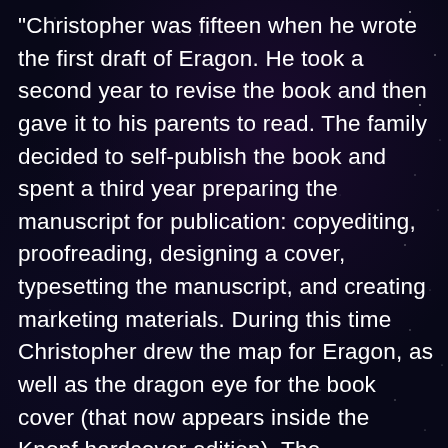"Christopher was fifteen when he wrote the first draft of Eragon. He took a second year to revise the book and then gave it to his parents to read. The family decided to self-publish the book and spent a third year preparing the manuscript for publication: copyediting, proofreading, designing a cover, typesetting the manuscript, and creating marketing materials. During this time Christopher drew the map for Eragon, as well as the dragon eye for the book cover (that now appears inside the Knopf hardcover edition). The manuscript was sent to press and the first books arrived in November 2001. The Paolini family spent the next year promoting the book at libraries, bookstores, and schools in 2002 and early 2003.